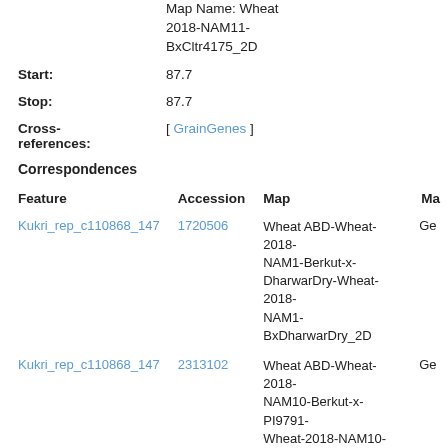Map Name: Wheat 2018-NAM11-BxCltr4175_2D
Start: 87.7
Stop: 87.7
Cross-references: [ GrainGenes ]
Correspondences
| Feature | Accession | Map | Ma |
| --- | --- | --- | --- |
| Kukri_rep_c110868_147 | 1720506 | Wheat ABD-Wheat-2018-NAM1-Berkut-x-DharwarDry-Wheat-2018-NAM1-BxDharwarDry_2D | Ge |
| Kukri_rep_c110868_147 | 2313102 | Wheat ABD-Wheat-2018-NAM10-Berkut-x-PI9791-Wheat-2018-NAM10-BxPI9791_2D | Ge |
| Kukri_rep_c110868_147 | 2422854 | Wheat ABD-Wheat-2018-NAM12-Berkut-x-Cltr11223-Wheat-2018-NAM12-BxCltr11223_2D | Ge |
| Kukri_rep_c110868_147 | 2478945 | Wheat ABD-Wheat-2018-NAM13-Berkut-x-PI262611-Wheat-2018-NAM13... | Ge |